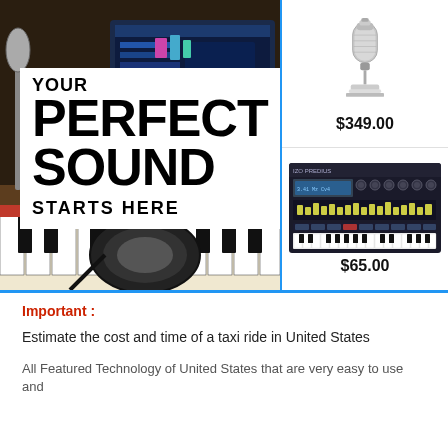[Figure (photo): Music production studio background with keyboard, headphones, and laptop showing DAW software. Overlaid white text box reading YOUR PERFECT SOUND STARTS HERE.]
[Figure (photo): Silver condenser microphone on a white mount stand. Price: $349.00]
[Figure (screenshot): Screenshot of a synthesizer software plugin (Predius). Price: $65.00]
Important :
Estimate the cost and time of a taxi ride in United States
All Featured Technology of United States that are very easy to use and